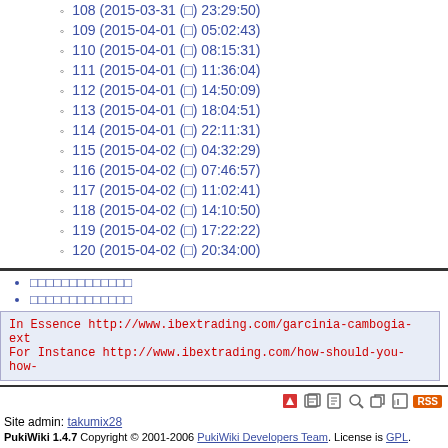108 (2015-03-31 (□) 23:29:50)
109 (2015-04-01 (□) 05:02:43)
110 (2015-04-01 (□) 08:15:31)
111 (2015-04-01 (□) 11:36:04)
112 (2015-04-01 (□) 14:50:09)
113 (2015-04-01 (□) 18:04:51)
114 (2015-04-01 (□) 22:11:31)
115 (2015-04-02 (□) 04:32:29)
116 (2015-04-02 (□) 07:46:57)
117 (2015-04-02 (□) 11:02:41)
118 (2015-04-02 (□) 14:10:50)
119 (2015-04-02 (□) 17:22:22)
120 (2015-04-02 (□) 20:34:00)
□□□□□□□□□□□□□
□□□□□□□□□□□□□
In Essence http://www.ibextrading.com/garcinia-cambogia-ext
For Instance http://www.ibextrading.com/how-should-you-how-
Site admin: takumix28
PukiWiki 1.4.7 Copyright © 2001-2006 PukiWiki Developers Team. License is GPL.